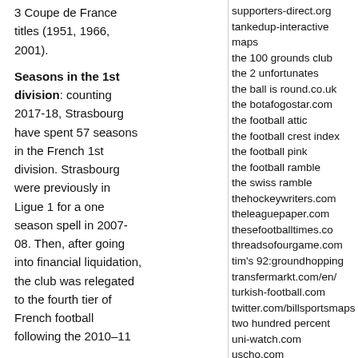3 Coupe de France titles (1951, 1966, 2001). Seasons in the 1st division: counting 2017-18, Strasbourg have spent 57 seasons in the French 1st division. Strasbourg were previously in Ligue 1 for a one season spell in 2007-08. Then, after going into financial liquidation, the club was relegated to the fourth tier of French football following the 2010-11
supporters-direct.org
tankedup-interactive maps
the 100 grounds club
the 2 unfortunates
the ball is round.co.uk
the botafogostar.com
the football attic
the football crest index
the football pink
the football ramble
the swiss ramble
thehockeywriters.com
theleaguepaper.com
thesefootballtimes.co
threadsofourgame.com
tim's 92:groundhopping
transfermarkt.com/en/
turkish-football.com
twitter.com/billsportsmaps
two hundred percent
uni-watch.com
uscho.com
weltfussballarchiv.com
when saturday comes
who ate all the pies
worldfootball.net
worldfootballindex.com
worldsoccertalk.com
youtube.com/ligue1fr
zonalmarking.net
archives
august 2022